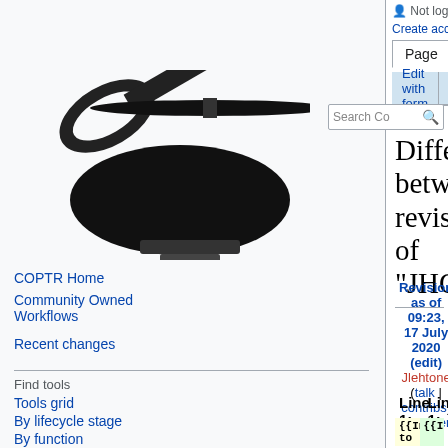Not logged in  Talk  Contributions  Create account  Log in
Page  Discussion  Edit with form  Edit  View history
[Figure (logo): COPTR wiki wrench/tool logo]
Difference between revisions of "JHOVE2"
Revision as of 09:23, 17 July 2020 (edit)
Jlehtone (talk | contribs)
← Older edit

Revision as of 09:19, 23 April 2021 (edit) (undo)
JvdNat (talk | contribs)
Newer edit →
Line 1:
Line 1:
{{Infobox to
{{Infobox
COPTR Home
Community Owned Workflows
Recent changes
Find tools
Tools grid
By lifecycle stage
By function
By content type
By file format
All tools
Help